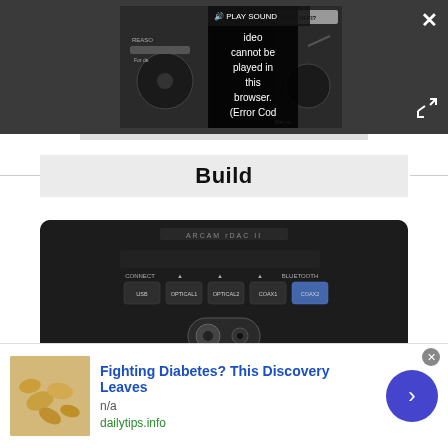[Figure (screenshot): Video player with error overlay showing 'Video cannot be played in this browser. (Error Cod' and PLAY SOUND button, with close X and expand icons on dark background]
Build
[Figure (photo): Front panel of a black Arcam DAC device showing USB, OPTICAL1, OPTICAL2, COAX1, COAX2 inputs and headphone jack]
Fighting Diabetes? This Discovery Leaves
n/a
dailytips.info